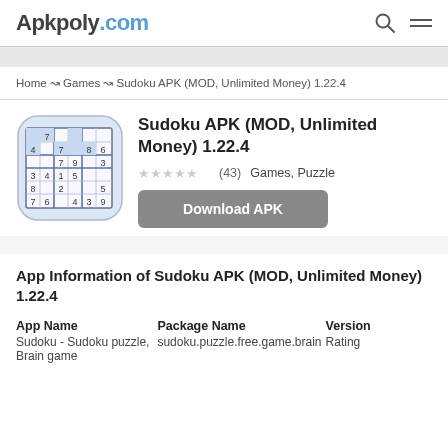Apkpoly.com
Home ↝ Games ↝ Sudoku APK (MOD, Unlimited Money) 1.22.4
[Figure (illustration): Sudoku app icon showing a sudoku puzzle grid with numbers on a blue/white background with rounded corners]
Sudoku APK (MOD, Unlimited Money) 1.22.4
(43)  Games, Puzzle
Download APK
App Information of Sudoku APK (MOD, Unlimited Money) 1.22.4
| App Name | Package Name | Version |
| --- | --- | --- |
| Sudoku - Sudoku puzzle, Brain game | sudoku.puzzle.free.game.brain | Rating |